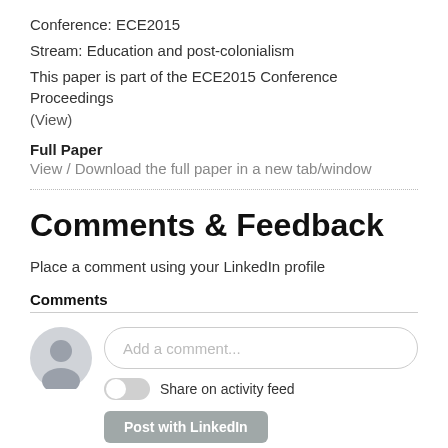Conference: ECE2015
Stream: Education and post-colonialism
This paper is part of the ECE2015 Conference Proceedings (View)
Full Paper
View / Download the full paper in a new tab/window
Comments & Feedback
Place a comment using your LinkedIn profile
Comments
[Figure (screenshot): LinkedIn comment input area with avatar, text field saying 'Add a comment...', toggle for 'Share on activity feed', and 'Post with LinkedIn' button]